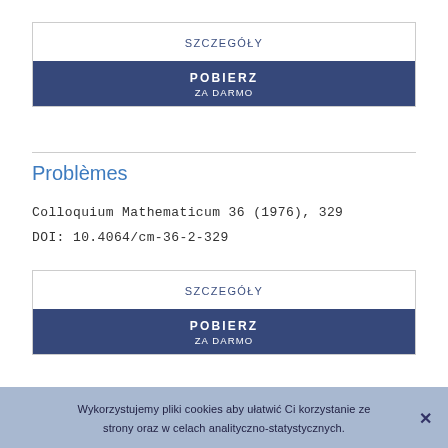[Figure (screenshot): Button group: SZCZEGÓŁY (top white section) and POBIERZ / ZA DARMO (bottom dark blue section), first instance]
[Figure (screenshot): Divider line separating button group from article info]
Problèmes
Colloquium Mathematicum 36 (1976), 329
DOI: 10.4064/cm-36-2-329
[Figure (screenshot): Button group: SZCZEGÓŁY (top white section) and POBIERZ / ZA DARMO (bottom dark blue section), second instance]
[Figure (screenshot): Divider line separating second button group from cookie bar]
Wykorzystujemy pliki cookies aby ułatwić Ci korzystanie ze strony oraz w celach analityczno-statystycznych.